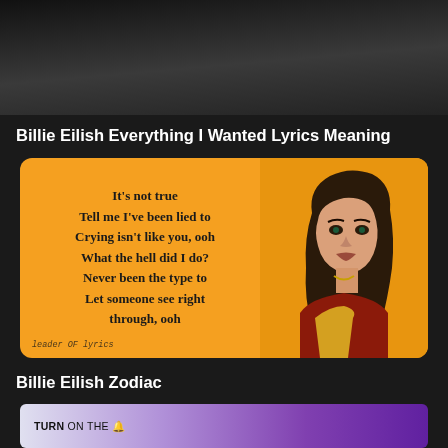[Figure (photo): Dark textured background at top of page]
Billie Eilish Everything I Wanted Lyrics Meaning
[Figure (infographic): Orange card with Billie Eilish lyrics and artist photo. Lyrics read: It's not true / Tell me I've been lied to / Crying isn't like you, ooh / What the hell did I do? / Never been the type to / Let someone see right through, ooh. Watermark: leader OF lyrics]
Billie Eilish Zodiac
[Figure (screenshot): Bottom thumbnail card with purple gradient and TURN ON THE bell icon text]